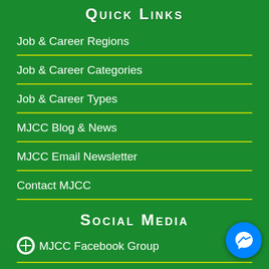Quick Links
Job & Career Regions
Job & Career Categories
Job & Career Types
MJCC Blog & News
MJCC Email Newsletter
Contact MJCC
Social Media
MJCC Facebook Group
MJCC LinkedIn Group
MJCC Facebook Page